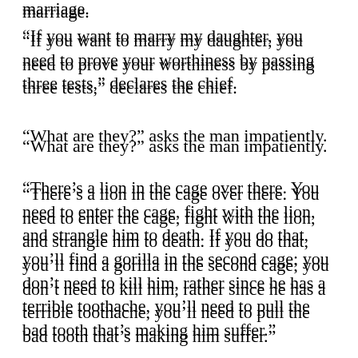marriage.
“If you want to marry my daughter, you need to prove your worthiness by passing three tests,” declares the chief.
“What are they?” asks the man impatiently.
“There’s a lion in the cage over there. You need to enter the cage, fight with the lion, and strangle him to death. If you do that, you’ll find a gorilla in the second cage; you don’t need to kill him, rather since he has a terrible toothache, you’ll need to pull the bad tooth that’s making him suffer.”
“And the third test?” asks the yearning lover.
“In the third cage you’ll find a frigid Englishwoman. You must enter the cage and give her an